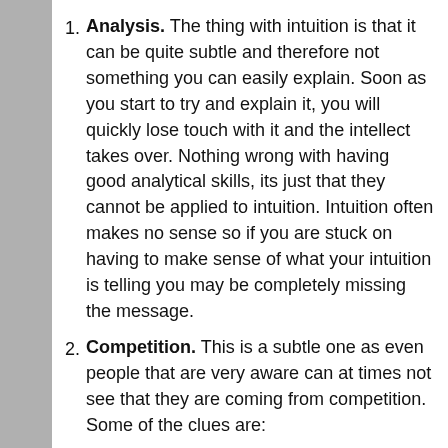Analysis. The thing with intuition is that it can be quite subtle and therefore not something you can easily explain. Soon as you start to try and explain it, you will quickly lose touch with it and the intellect takes over. Nothing wrong with having good analytical skills, its just that they cannot be applied to intuition. Intuition often makes no sense so if you are stuck on having to make sense of what your intuition is telling you may be completely missing the message.
Competition. This is a subtle one as even people that are very aware can at times not see that they are coming from competition. Some of the clues are: